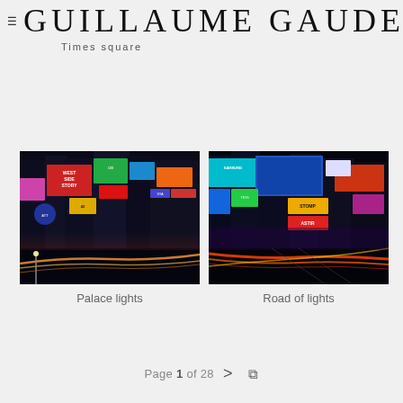GUILLAUME GAUDET
Times square
[Figure (photo): Night photo of Times Square showing illuminated billboards including West Side Story sign, colorful neon lights, and light trails from traffic on the street below]
Palace lights
[Figure (photo): Night photo of Times Square showing dense cluster of illuminated billboards including STOMP and ASTIR signs, vibrant neon colors, and red light trails from vehicles]
Road of lights
Page 1 of 28